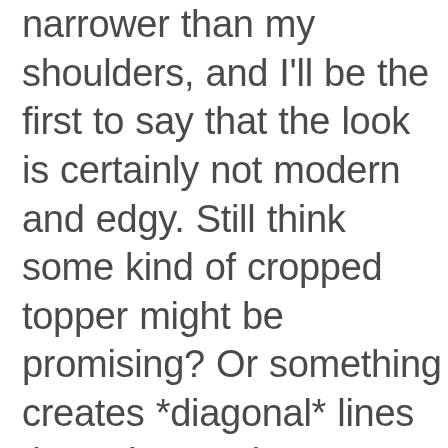narrower than my shoulders, and I'll be the first to say that the look is certainly not modern and edgy. Still think some kind of cropped topper might be promising? Or something creates *diagonal* lines through seaming or draping -- I like the moto jacket idea suggested above, though the trick is going to be to find something lightweight...